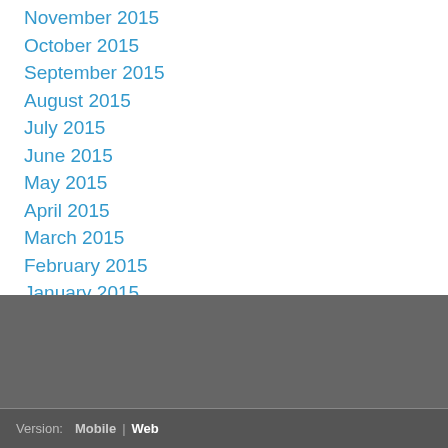November 2015
October 2015
September 2015
August 2015
July 2015
June 2015
May 2015
April 2015
March 2015
February 2015
January 2015
RSS Feed
Proudly powered by Weebly
Version: Mobile | Web